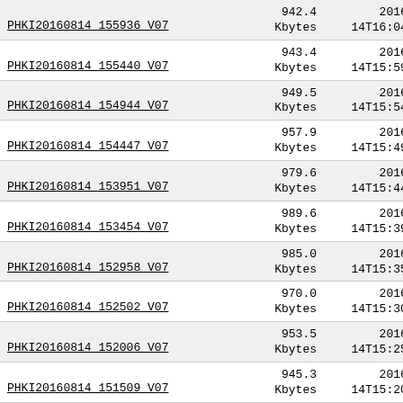| Filename | Size | Date |
| --- | --- | --- |
| PHKI20160814 155936 V07 | 942.4 Kbytes | 2016-08-14T16:04:38Z |
| PHKI20160814 155440 V07 | 943.4 Kbytes | 2016-08-14T15:59:42Z |
| PHKI20160814 154944 V07 | 949.5 Kbytes | 2016-08-14T15:54:46Z |
| PHKI20160814 154447 V07 | 957.9 Kbytes | 2016-08-14T15:49:50Z |
| PHKI20160814 153951 V07 | 979.6 Kbytes | 2016-08-14T15:44:53Z |
| PHKI20160814 153454 V07 | 989.6 Kbytes | 2016-08-14T15:39:56Z |
| PHKI20160814 152958 V07 | 985.0 Kbytes | 2016-08-14T15:35:00Z |
| PHKI20160814 152502 V07 | 970.0 Kbytes | 2016-08-14T15:30:04Z |
| PHKI20160814 152006 V07 | 953.5 Kbytes | 2016-08-14T15:25:07Z |
| PHKI20160814 151509 V07 | 945.3 Kbytes | 2016-08-14T15:20:11Z |
| PHKI20160814 151013 V07 | 933.9 Kbytes | 2016-08-14T15:15:14Z |
| PHKI20160814 150517 V07 | 927.0 Kbytes | 2016-08-14T15:10:18Z |